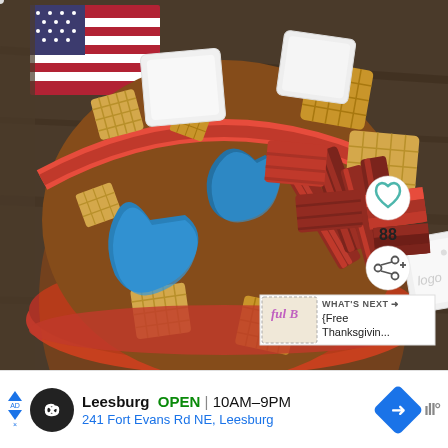[Figure (photo): A red bowl filled with a patriotic snack mix including Chex cereal squares, white chocolate squares (one stamped with a logo), blue candy pieces shaped like states, red licorice/candy sticks, all viewed from above. An American flag is visible in the background upper left. A heart/like button (teal circle with heart icon), share button, count of 88, and a 'What's Next' recommendation overlay appear on the right side.]
WHAT'S NEXT → {Free Thanksgivin...
Leesburg OPEN | 10AM–9PM
241 Fort Evans Rd NE, Leesburg